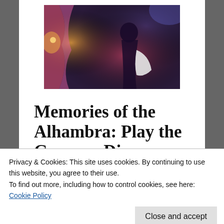[Figure (photo): A dramatic scene showing a person in a dark setting with colorful lighting, pink/red curtains and moody atmosphere, appears to be a Korean drama scene.]
Memories of the Alhambra: Play the Game or Die
This is one amusing drama. I won’t tell you it’s the best thing I’ve ever seen, or the worst, because I’m pretty conflicted. How do I really feel about this? I’m not sure. In Spain, a
Privacy & Cookies: This site uses cookies. By continuing to use this website, you agree to their use.
To find out more, including how to control cookies, see here:
Cookie Policy
Close and accept